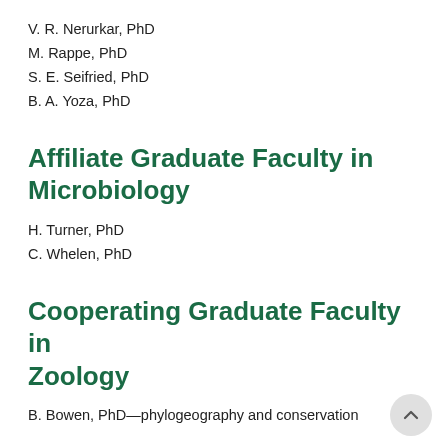V. R. Nerurkar, PhD
M. Rappe, PhD
S. E. Seifried, PhD
B. A. Yoza, PhD
Affiliate Graduate Faculty in Microbiology
H. Turner, PhD
C. Whelen, PhD
Cooperating Graduate Faculty in Zoology
B. Bowen, PhD—phylogeography and conservation genetics of marine vertebrates